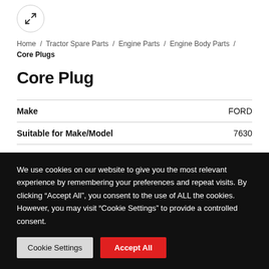[Figure (other): Expand/fullscreen icon in a circle button]
Home / Tractor Spare Parts / Engine Parts / Engine Body Parts / Core Plugs
Core Plug
| Make | FORD |
| Suitable for Make/Model | 7630 |
| SKU | CP01010800-399 |
We use cookies on our website to give you the most relevant experience by remembering your preferences and repeat visits. By clicking “Accept All”, you consent to the use of ALL the cookies. However, you may visit "Cookie Settings" to provide a controlled consent.
Cookie Settings | Accept All